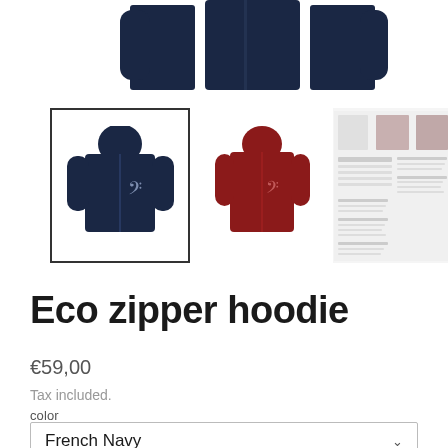[Figure (photo): Top strip showing navy zip-up hoodie with bass clef design from multiple angles (front, flat, back), partially cropped]
[Figure (photo): Thumbnail: navy eco zipper hoodie with bass clef design, selected (bordered)]
[Figure (photo): Thumbnail: dark red/burgundy eco zipper hoodie with bass clef design]
[Figure (photo): Thumbnail: product info sheet with size chart and detail photos]
Eco zipper hoodie
€59,00
Tax included.
color
French Navy